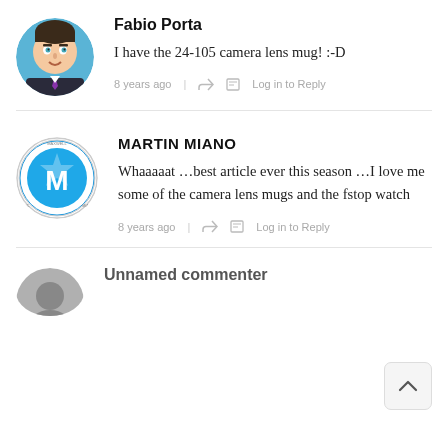[Figure (illustration): Cartoon avatar of Fabio Porta - illustrated male character in suit with blue background]
Fabio Porta
I have the 24-105 camera lens mug! :-D
8 years ago | Log in to Reply
[Figure (logo): Martin Miano logo - blue circle with white M letter and circular text border]
MARTIN MIANO
Whaaaaat …best article ever this season …I love me some of the camera lens mugs and the fstop watch
8 years ago | Log in to Reply
[Figure (photo): Gray circle avatar partially visible at bottom]
Unnamed commenter name partially visible